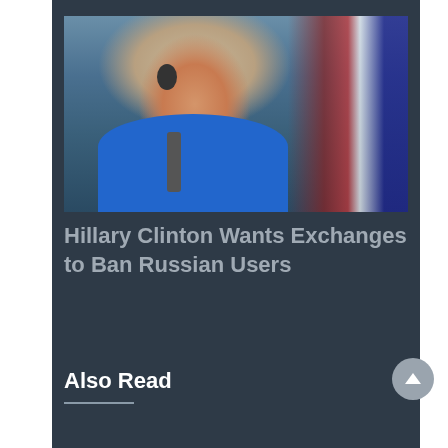[Figure (photo): Photo of Hillary Clinton in a blue jacket speaking into a microphone at a podium, with a flag in the background]
Hillary Clinton Wants Exchanges to Ban Russian Users
Also Read